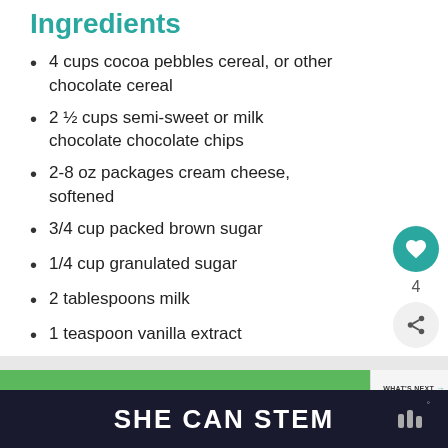Ingredients
4 cups cocoa pebbles cereal, or other chocolate cereal
2 ½ cups semi-sweet or milk chocolate chocolate chips
2-8 oz packages cream cheese, softened
3/4 cup packed brown sugar
1/4 cup granulated sugar
2 tablespoons milk
1 teaspoon vanilla extract
1 teaspoon salt, optional
[Figure (infographic): Advertisement banner for Cookies for Kids Cancer: 'turn your COOKIES into a CURE LEARN HOW' with logo and a 'WHAT'S NEXT' panel showing Mini Chocolate...]
SHE CAN STEM